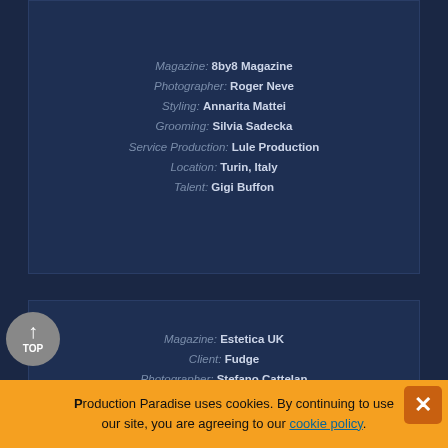Magazine: 8by8 Magazine | Photographer: Roger Neve | Styling: Annarita Mattei | Grooming: Silvia Sadecka | Service Production: Lule Production | Location: Turin, Italy | Talent: Gigi Buffon
Magazine: Estetica UK | Client: Fudge | Photographer: Stefano Cattelan | Casting: Lule Production
Client: Arcus Real Estate | Project: Torino outlet village | Photographer: Alberto Aliverti | Advertising Agency: JWT Milan
Production Paradise uses cookies. By continuing to use our site, you are agreeing to our cookie policy.